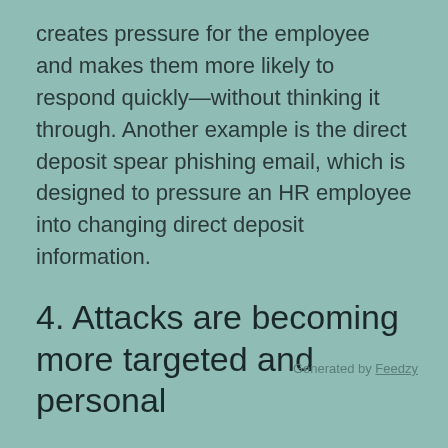creates pressure for the employee and makes them more likely to respond quickly—without thinking it through. Another example is the direct deposit spear phishing email, which is designed to pressure an HR employee into changing direct deposit information.
4. Attacks are becoming more targeted and personal
Many phishing attacks of the past were sent in bulk to a large group of users at once, resulting in impersonal greetings. The emails would often address a user with a generic term like
Generated by Feedzy